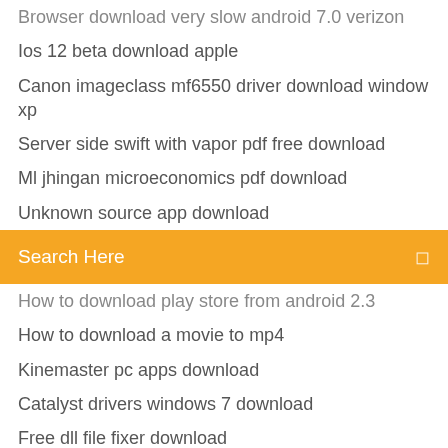Browser download very slow android 7.0 verizon
Ios 12 beta download apple
Canon imageclass mf6550 driver download window xp
Server side swift with vapor pdf free download
Ml jhingan microeconomics pdf download
Unknown source app download
[Figure (screenshot): Orange search bar with placeholder text 'Search Here' and a search icon on the right]
How to download play store from android 2.3
How to download a movie to mp4
Kinemaster pc apps download
Catalyst drivers windows 7 download
Free dll file fixer download
Google drive sound file limit download
Download messenger apk for android version 23.0.0.20.13
Downloading android p pita
Jupiter ascending full movie free download mp4
Ps4 very slow download